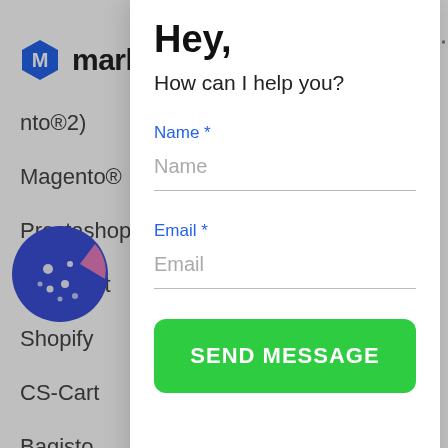[Figure (logo): Marketo-style blue hexagon logo with letter M]
mark
nto®2)
Magento®
Prestashop
Opencart
Shopify
CS-Cart
Bagisto
[Figure (illustration): Blue and pink cookie/biscuit icon with dots]
cookies. Learn More
GOT IT!
Hey,
How can I help you?
Name *
Name
Email *
Email
SEND MESSAGE